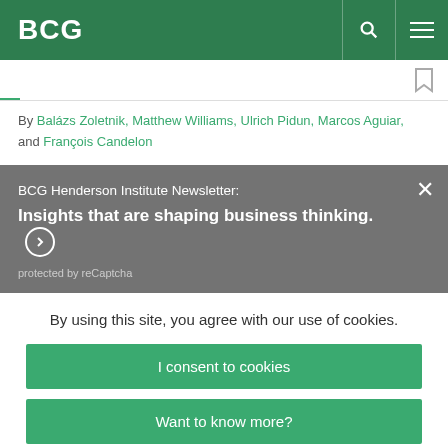BCG
By Balázs Zoletnik, Matthew Williams, Ulrich Pidun, Marcos Aguiar, and François Candelon
BCG Henderson Institute Newsletter: Insights that are shaping business thinking. protected by reCaptcha
By using this site, you agree with our use of cookies. I consent to cookies Want to know more? Read our Cookie Policy